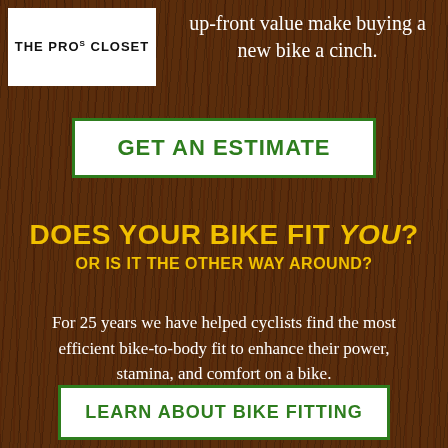[Figure (logo): The Pro's Closet logo — white box with black text]
up-front value make buying a new bike a cinch.
GET AN ESTIMATE
DOES YOUR BIKE FIT YOU? OR IS IT THE OTHER WAY AROUND?
For 25 years we have helped cyclists find the most efficient bike-to-body fit to enhance their power, stamina, and comfort on a bike.
LEARN ABOUT BIKE FITTING